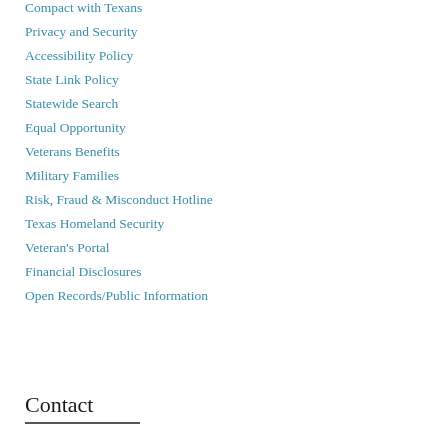Compact with Texans
Privacy and Security
Accessibility Policy
State Link Policy
Statewide Search
Equal Opportunity
Veterans Benefits
Military Families
Risk, Fraud & Misconduct Hotline
Texas Homeland Security
Veteran's Portal
Financial Disclosures
Open Records/Public Information
Contact